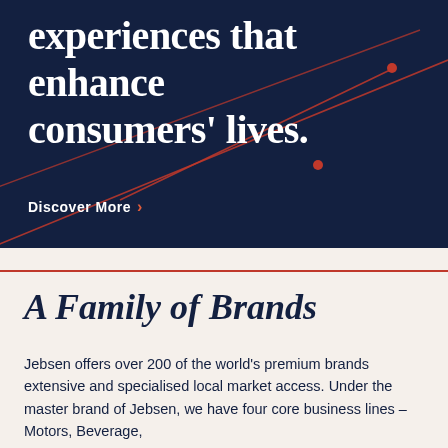experiences that enhance consumers' lives.
Discover More ›
[Figure (illustration): Decorative red/orange diagonal lines crossing with small circle dots forming a geometric star/cross pattern on dark navy background]
A Family of Brands
Jebsen offers over 200 of the world's premium brands extensive and specialised local market access. Under the master brand of Jebsen, we have four core business lines – Motors, Beverage,